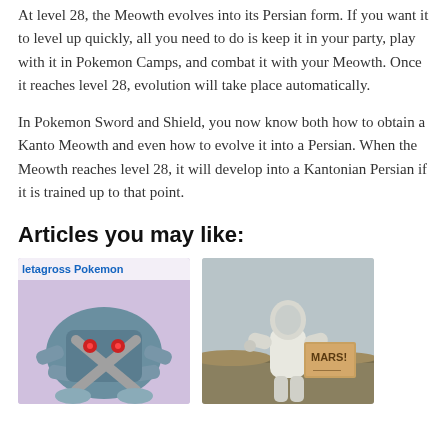At level 28, the Meowth evolves into its Persian form. If you want it to level up quickly, all you need to do is keep it in your party, play with it in Pokemon Camps, and combat it with your Meowth. Once it reaches level 28, evolution will take place automatically.
In Pokemon Sword and Shield, you now know both how to obtain a Kanto Meowth and even how to evolve it into a Persian. When the Meowth reaches level 28, it will develop into a Kantonian Persian if it is trained up to that point.
Articles you may like:
[Figure (photo): Metagross Pokemon card/thumbnail image showing Metagross with a purple/lavender background and title text 'Metagross Pokemon' at top]
[Figure (photo): Astronaut in white space suit standing in a field holding a cardboard sign reading 'MARS!']